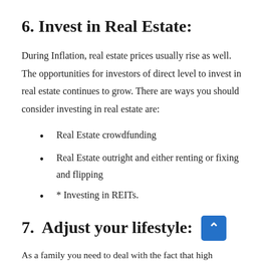6. Invest in Real Estate:
During Inflation, real estate prices usually rise as well. The opportunities for investors of direct level to invest in real estate continues to grow. There are ways you should consider investing in real estate are:
Real Estate crowdfunding
Real Estate outright and either renting or fixing and flipping
* Investing in REITs.
7.  Adjust your lifestyle:
As a family you need to deal with the fact that high